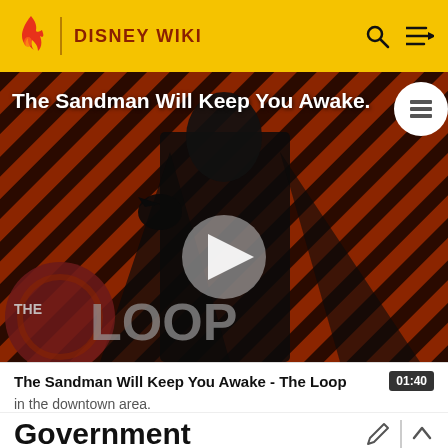DISNEY WIKI
[Figure (screenshot): Video thumbnail showing a figure in black clothing against a red and black diagonal striped background, with 'The Loop' branding. Title reads 'The Sandman Will Keep You Awake.' with a play button overlay.]
The Sandman Will Keep You Awake - The Loop
in the downtown area.
Government